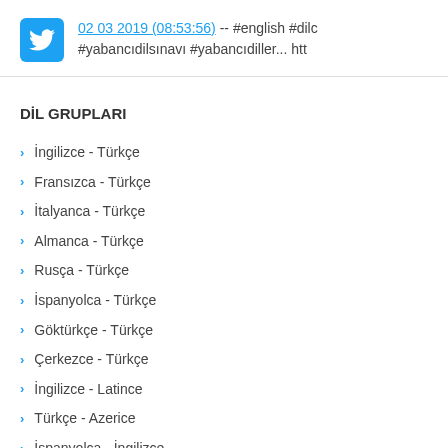02 03 2019 (08:53:56) -- #english #dil #yabancıdilsınavı #yabancıdiller... htt
DİL GRUPLARI
İngilizce - Türkçe
Fransızca - Türkçe
İtalyanca - Türkçe
Almanca - Türkçe
Rusça - Türkçe
İspanyolca - Türkçe
Göktürkçe - Türkçe
Çerkezce - Türkçe
İngilizce - Latince
Türkçe - Azerice
İspanyolca - İngilizce